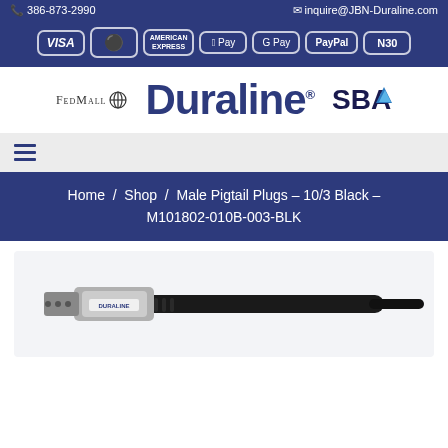386-873-2990 | inquire@JBN-Duraline.com
[Figure (infographic): Payment method badges: VISA, Mastercard, American Express, Apple Pay, G Pay, PayPal, N30]
[Figure (logo): FedMall logo, Duraline logo, SBA logo]
[Figure (infographic): Hamburger menu icon (three horizontal lines)]
Home / Shop / Male Pigtail Plugs – 10/3 Black – M101802-010B-003-BLK
[Figure (photo): Male pigtail plug product photo showing a black cable with silver metallic connector end labeled Duraline]